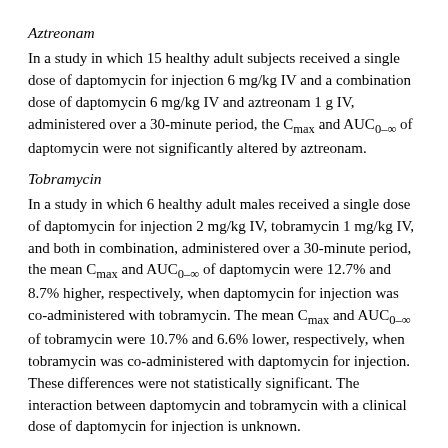Aztreonam
In a study in which 15 healthy adult subjects received a single dose of daptomycin for injection 6 mg/kg IV and a combination dose of daptomycin 6 mg/kg IV and aztreonam 1 g IV, administered over a 30-minute period, the Cₘₐₓ and AUC₀₋∞ of daptomycin were not significantly altered by aztreonam.
Tobramycin
In a study in which 6 healthy adult males received a single dose of daptomycin for injection 2 mg/kg IV, tobramycin 1 mg/kg IV, and both in combination, administered over a 30-minute period, the mean Cₘₐₓ and AUC₀₋∞ of daptomycin were 12.7% and 8.7% higher, respectively, when daptomycin for injection was co-administered with tobramycin. The mean Cₘₐₓ and AUC₀₋∞ of tobramycin were 10.7% and 6.6% lower, respectively, when tobramycin was co-administered with daptomycin for injection. These differences were not statistically significant. The interaction between daptomycin and tobramycin with a clinical dose of daptomycin for injection is unknown.
Warfarin
In 16 healthy adult subjects, administration of daptomycin for injection 6 mg/kg every 24h by IV infusion over a 30-minute period for 5 days, with co-administration of a single oral dose of warfarin (25 mg) on the 5th day, had no significant effect on the